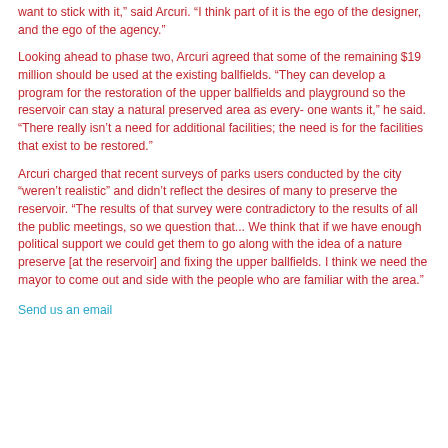want to stick with it,” said Arcuri. “I think part of it is the ego of the designer, and the ego of the agency.”
Looking ahead to phase two, Arcuri agreed that some of the remaining $19 million should be used at the existing ballfields. “They can develop a program for the restoration of the upper ballfields and playground so the reservoir can stay a natural preserved area as every- one wants it,” he said. “There really isn’t a need for additional facilities; the need is for the facilities that exist to be restored.”
Arcuri charged that recent surveys of parks users conducted by the city “weren’t realistic” and didn’t reflect the desires of many to preserve the reservoir. “The results of that survey were contradictory to the results of all the public meetings, so we question that... We think that if we have enough political support we could get them to go along with the idea of a nature preserve [at the reservoir] and fixing the upper ballfields. I think we need the mayor to come out and side with the people who are familiar with the area.”
Send us an email